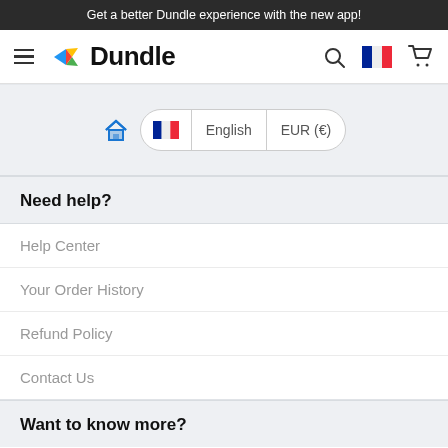Get a better Dundle experience with the new app!
[Figure (logo): Dundle logo with colorful hexagonal icon and bold text 'Dundle', navigation icons: hamburger menu, search, France flag, shopping cart]
[Figure (screenshot): Language/region selector bar with home icon, French flag, English language selector, EUR (€) currency selector]
Need help?
Help Center
Your Order History
Refund Policy
Contact Us
Want to know more?